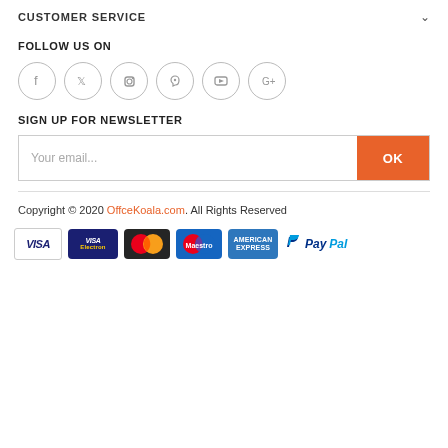CUSTOMER SERVICE
FOLLOW US ON
[Figure (other): Social media icons in circles: Facebook, Twitter, Instagram, Pinterest, YouTube, Google+]
SIGN UP FOR NEWSLETTER
Your email... OK
Copyright © 2020 OffceKoala.com. All Rights Reserved
[Figure (other): Payment method logos: VISA, VISA Electron, MasterCard, Maestro, American Express, PayPal]